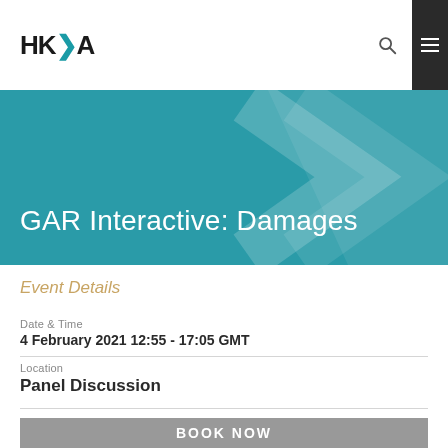HK>A
GAR Interactive: Damages
Event Details
Date & Time
4 February 2021 12:55 - 17:05 GMT
Location
Panel Discussion
[Figure (screenshot): BOOK NOW button in gray background]